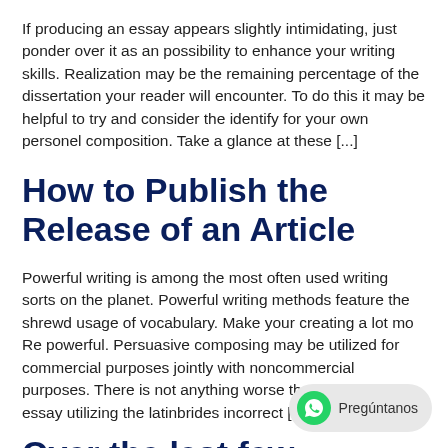If producing an essay appears slightly intimidating, just ponder over it as an possibility to enhance your writing skills. Realization may be the remaining percentage of the dissertation your reader will encounter. To do this it may be helpful to try and consider the identify for your own personel composition. Take a glance at these [...]
How to Publish the Release of an Article
Powerful writing is among the most often used writing sorts on the planet. Powerful writing methods feature the shrewd usage of vocabulary. Make your creating a lot mo Re powerful. Persuasive composing may be utilized for commercial purposes jointly with noncommercial purposes. There is not anything worse than composing an essay utilizing the latinbrides incorrect [...]
Over the last few decades...